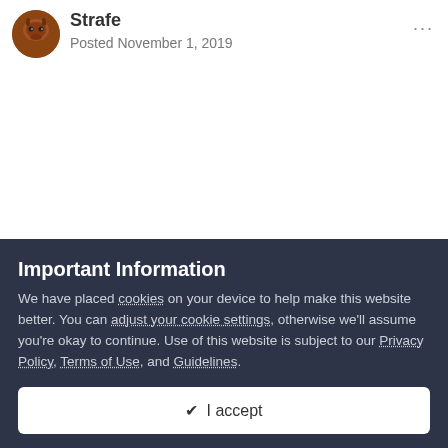Strafe
Posted November 1, 2019
Important Information
We have placed cookies on your device to help make this website better. You can adjust your cookie settings, otherwise we'll assume you're okay to continue. Use of this website is subject to our Privacy Policy, Terms of Use, and Guidelines.
✔ I accept